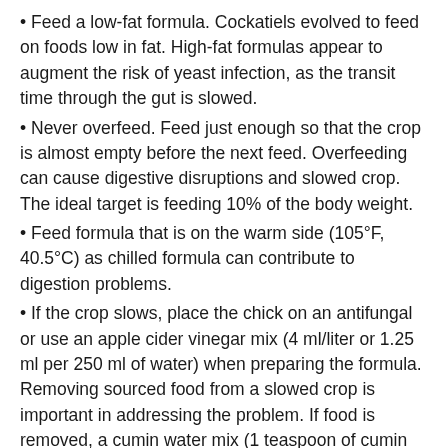Feed a low-fat formula. Cockatiels evolved to feed on foods low in fat. High-fat formulas appear to augment the risk of yeast infection, as the transit time through the gut is slowed.
Never overfeed. Feed just enough so that the crop is almost empty before the next feed. Overfeeding can cause digestive disruptions and slowed crop. The ideal target is feeding 10% of the body weight.
Feed formula that is on the warm side (105°F, 40.5°C) as chilled formula can contribute to digestion problems.
If the crop slows, place the chick on an antifungal or use an apple cider vinegar mix (4 ml/liter or 1.25 ml per 250 ml of water) when preparing the formula. Removing sourced food from a slowed crop is important in addressing the problem. If food is removed, a cumin water mix (1 teaspoon of cumin seeds boiled in 250 ml of water) will help in washing the crop and deter a yeast bloom.
Introduce seeds, millet sprays or pellets when the chicks